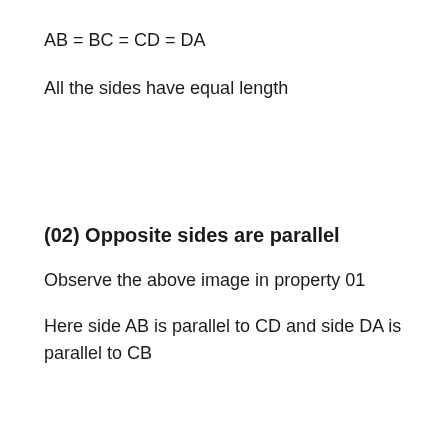All the sides have equal length
(02) Opposite sides are parallel
Observe the above image in property 01
Here side AB is parallel to CD and side DA is parallel to CB